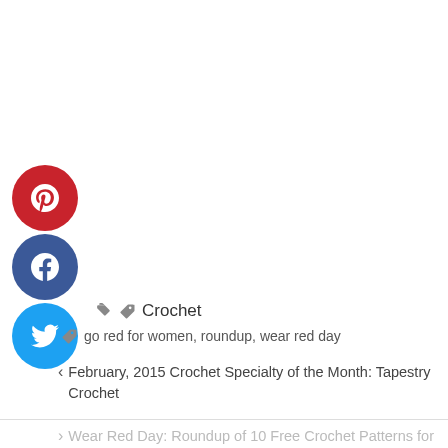[Figure (infographic): Three social media share buttons stacked vertically: Pinterest (red circle with P icon), Facebook (dark blue circle with f icon), Twitter (light blue circle with bird icon)]
Crochet
go red for women, roundup, wear red day
< February, 2015 Crochet Specialty of the Month: Tapestry Crochet
> Wear Red Day: Roundup of 10 Free Crochet Patterns for Headwear